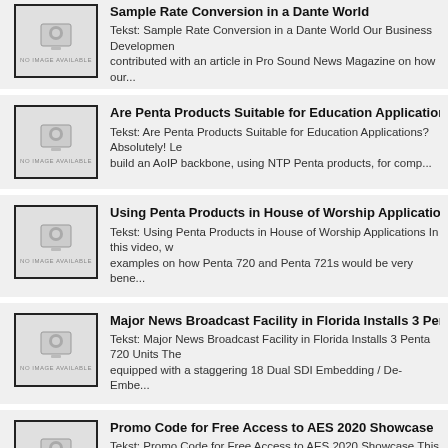Sample Rate Conversion in a Dante World — Tekst: Sample Rate Conversion in a Dante World Our Business Development contributed with an article in Pro Sound News Magazine on how our...
Are Penta Products Suitable for Education Applications? — Tekst: Are Penta Products Suitable for Education Applications? Absolutely! Le build an AoIP backbone, using NTP Penta products, for comp...
Using Penta Products in House of Worship Applications — Tekst: Using Penta Products in House of Worship Applications In this video, examples on how Penta 720 and Penta 721s would be very bene...
Major News Broadcast Facility in Florida Installs 3 Penta 720 Units — Tekst: Major News Broadcast Facility in Florida Installs 3 Penta 720 Units The equipped with a staggering 18 Dual SDI Embedding / De-Embe...
Promo Code for Free Access to AES 2020 Showcase — Tekst: Promo Code for Free Access to AES 2020 Showcase This week, the a New York would have happened. But due to the pandemic, it has moved ...
Another 7 Penta 720 Units Ready to Bridge Gaps in Broadcast Audio — Tekst: Another 7 Penta 720 Units Ready to Bridge Gaps in Broadcast Audio We testing and are ready to ship these Penta 720 units stuffed...
NAMM 2020 | Meet Us at Booth 15528 — Tekst: NAMM 2020 | Meet Us at Booth 15528 We are exhibiting at the NAMM California, in January 2020. If you are there, please make sure to s...